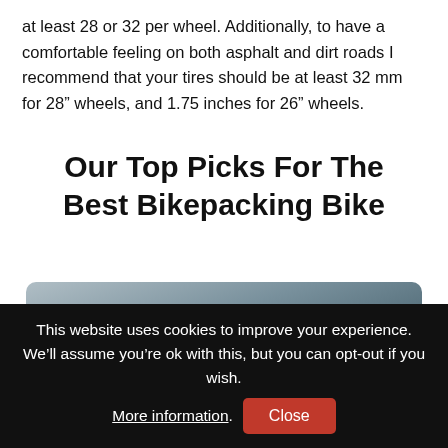at least 28 or 32 per wheel. Additionally, to have a comfortable feeling on both asphalt and dirt roads I recommend that your tires should be at least 32 mm for 28” wheels, and 1.75 inches for 26” wheels.
Our Top Picks For The Best Bikepacking Bike
[Figure (photo): A scenic outdoor photo with a person figure and mountain silhouette in the background, overlaid with text 'Do You Want to Travel FOREVER??']
This website uses cookies to improve your experience. We’ll assume you’re ok with this, but you can opt-out if you wish. More information. Close